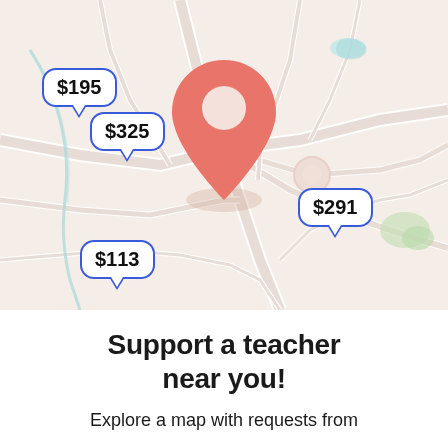[Figure (map): A map view showing a geographic area with road networks, water features, and green spaces. A large salmon/coral colored map pin marker is centered in the upper portion of the map. Four price bubble callouts are overlaid on the map: $195 (upper left), $325 (below $195), $291 (right), and $113 (lower left).]
Support a teacher near you!
Explore a map with requests from